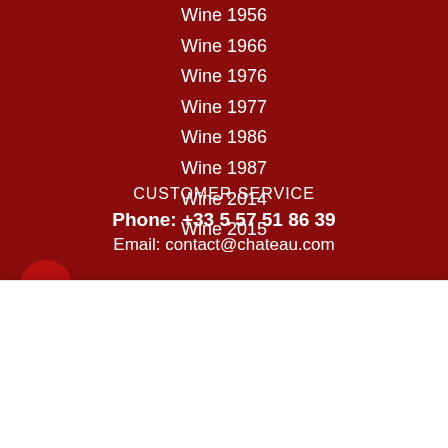Wine 1956
Wine 1966
Wine 1976
Wine 1977
Wine 1986
Wine 1987
Wine 2014
Wine 2015
CUSTOMER SERVICE
Phone: +33 5 57 51 86 39
Email: contact@chateau.com
Chateau.com
How can we help? We're here for you!
Reply to Chateau.com
Chat ⚡ by Drift